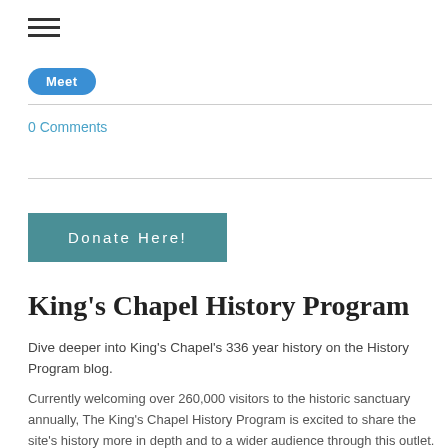[Figure (other): Hamburger menu icon (three horizontal lines)]
[Figure (other): Blue rounded button (Meet)]
0 Comments
[Figure (other): Teal rectangular button labeled 'Donate Here!']
King's Chapel History Program
Dive deeper into King's Chapel's 336 year history on the History Program blog.
Currently welcoming over 260,000 visitors to the historic sanctuary annually, The King's Chapel History Program is excited to share the site's history more in depth and to a wider audience through this outlet.